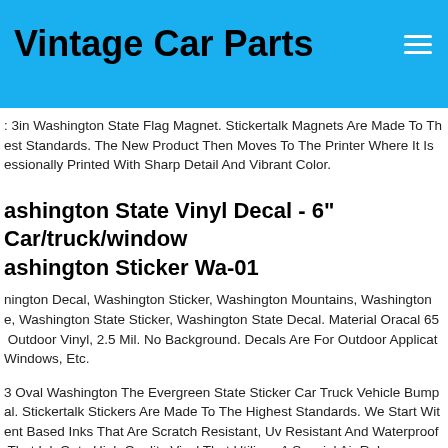Vintage Car Parts
: 3in Washington State Flag Magnet. Stickertalk Magnets Are Made To The Highest Standards. The New Product Then Moves To The Printer Where It Is Professionally Printed With Sharp Detail And Vibrant Color.
Washington State Vinyl Decal - 6" Car/truck/window Washington Sticker Wa-01
Washington Decal, Washington Sticker, Washington Mountains, Washington State, Washington State Sticker, Washington State Decal. Material Oracal 651 Outdoor Vinyl, 2.5 Mil. No Background. Decals Are For Outdoor Applications, Windows, Etc.
3 Oval Washington The Evergreen State Sticker Car Truck Vehicle Bumper Decal. Stickertalk Stickers Are Made To The Highest Standards. We Start With Pigment Based Inks That Are Scratch Resistant, Uv Resistant And Waterproof. That Ink Onto High Quality Vinyl That Utilizes A Special Air Release